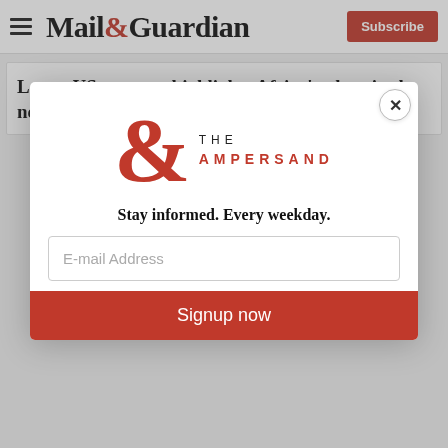Mail&Guardian — Subscribe
Latest US strategy highlights Africa's place in the new world...
[Figure (logo): The Ampersand newsletter logo — large red ampersand symbol with 'THE AMPERSAND' text]
Stay informed. Every weekday.
E-mail Address
Signup now